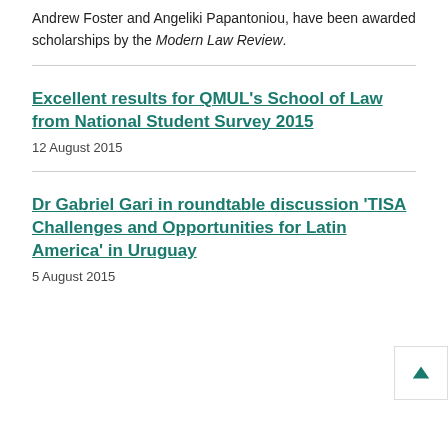Andrew Foster and Angeliki Papantoniou, have been awarded scholarships by the Modern Law Review.
Excellent results for QMUL's School of Law from National Student Survey 2015
12 August 2015
Dr Gabriel Gari in roundtable discussion 'TISA Challenges and Opportunities for Latin America' in Uruguay
5 August 2015